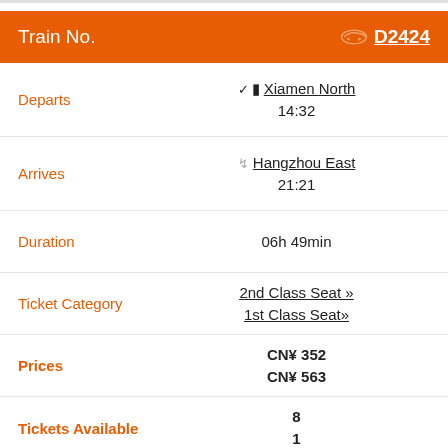Train No.  D2424
| Field | Value |
| --- | --- |
| Departs | Xiamen North 14:32 |
| Arrives | Hangzhou East 21:21 |
| Duration | 06h 49min |
| Ticket Category | 2nd Class Seat »  1st Class Seat» |
| Prices | CN¥ 352  CN¥ 563 |
| Tickets Available | 8  1 |